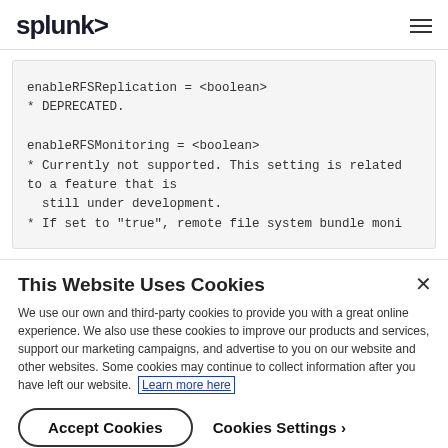splunk>
enableRFSReplication = <boolean>
* DEPRECATED.

enableRFSMonitoring = <boolean>
* Currently not supported. This setting is related to a feature that is
  still under development.
* If set to "true", remote file system bundle moni
This Website Uses Cookies
We use our own and third-party cookies to provide you with a great online experience. We also use these cookies to improve our products and services, support our marketing campaigns, and advertise to you on our website and other websites. Some cookies may continue to collect information after you have left our website. Learn more here
Accept Cookies
Cookies Settings ›